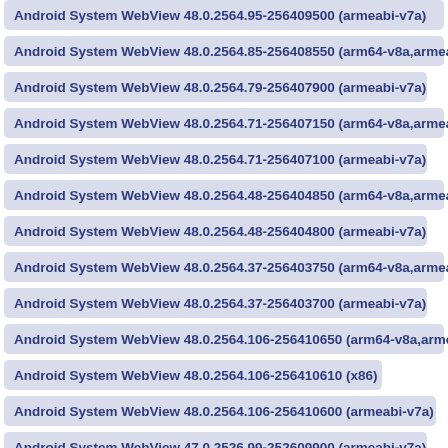Android System WebView 48.0.2564.95-256409500 (armeabi-v7a)
Android System WebView 48.0.2564.85-256408550 (arm64-v8a,armeabi-v7a)
Android System WebView 48.0.2564.79-256407900 (armeabi-v7a)
Android System WebView 48.0.2564.71-256407150 (arm64-v8a,armeabi-v7a)
Android System WebView 48.0.2564.71-256407100 (armeabi-v7a)
Android System WebView 48.0.2564.48-256404850 (arm64-v8a,armeabi-v7a)
Android System WebView 48.0.2564.48-256404800 (armeabi-v7a)
Android System WebView 48.0.2564.37-256403750 (arm64-v8a,armeabi-v7a)
Android System WebView 48.0.2564.37-256403700 (armeabi-v7a)
Android System WebView 48.0.2564.106-256410650 (arm64-v8a,armeabi-v7a)
Android System WebView 48.0.2564.106-256410610 (x86)
Android System WebView 48.0.2564.106-256410600 (armeabi-v7a)
Android System WebView 47.0.2526.99-252609900 (armeabi-v7a)
Android System WebView 47.0.2526.77-252607750 (arm64-v8a,armeabi-v7a)
Android System WebView 47.0.2526.77-252607700 (armeabi-v7a)